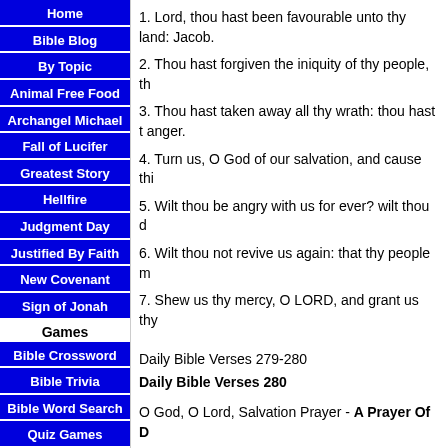Home
Bible Blog
By Topic
Animal Free Food
Archangel Michael
Fall of Lucifer
Greatest Story
Hellfire
Judgment Day
Justified By Faith
New Covenant
Sign of Jonah
Games
Bible Crossword
Bible Trivia
Bible Word Search
Quiz Games
1. Lord, thou hast been favourable unto thy land: Jacob.
2. Thou hast forgiven the iniquity of thy people, th
3. Thou hast taken away all thy wrath: thou hast t anger.
4. Turn us, O God of our salvation, and cause thi
5. Wilt thou be angry with us for ever? wilt thou d
6. Wilt thou not revive us again: that thy people m
7. Shew us thy mercy, O LORD, and grant us thy
Daily Bible Verses 279-280
Daily Bible Verses 280
O God, O Lord, Salvation Prayer - A Prayer Of D
David's prayer consists of his requests, quoting G stating his problems.